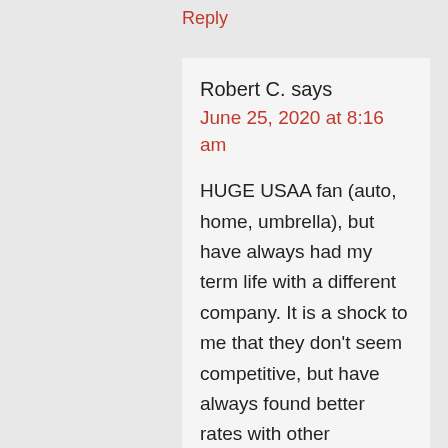Reply
Robert C. says
June 25, 2020 at 8:16 am
HUGE USAA fan (auto, home, umbrella), but have always had my term life with a different company. It is a shock to me that they don't seem competitive, but have always found better rates with other companies. Need to drop 10 pounds and then start looking again! Great article, and